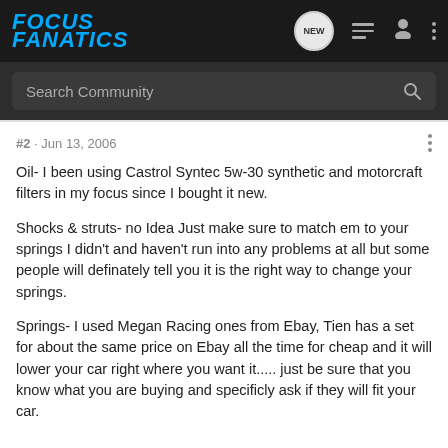[Figure (logo): Focus Fanatics logo in blue italic bold text on dark background]
Search Community
#2 · Jun 13, 2006
Oil- I been using Castrol Syntec 5w-30 synthetic and motorcraft filters in my focus since I bought it new.
Shocks & struts- no Idea Just make sure to match em to your springs I didn't and haven't run into any problems at all but some people will definately tell you it is the right way to change your springs.
Springs- I used Megan Racing ones from Ebay, Tien has a set for about the same price on Ebay all the time for cheap and it will lower your car right where you want it..... just be sure that you know what you are buying and specificly ask if they will fit your car.